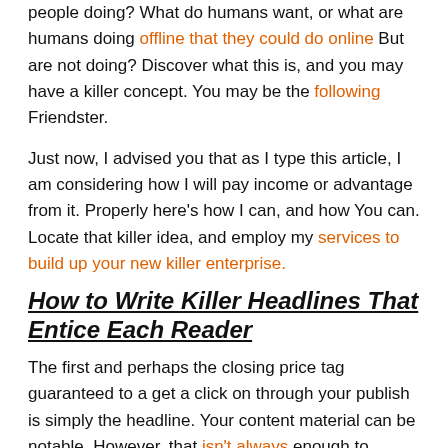people doing? What do humans want, or what are humans doing offline that they could do online But are not doing? Discover what this is, and you may have a killer concept. You may be the following Friendster.
Just now, I advised you that as I type this article, I am considering how I will pay income or advantage from it. Properly here's how I can, and how You can. Locate that killer idea, and employ my services to build up your new killer enterprise.
How to Write Killer Headlines That Entice Each Reader
The first and perhaps the closing price tag guaranteed to a get a click on through your publish is simply the headline. Your content material can be notable. However, that isn't always enough to capture any readers' attention. Consider while you are bored or a bit worn-out, nonetheless with a piece of strength to study a